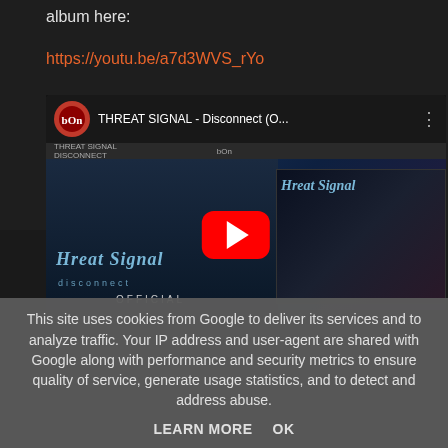album here:
https://youtu.be/a7d3WVS_rYo
[Figure (screenshot): YouTube video thumbnail for THREAT SIGNAL - Disconnect (Official) showing band members and album art with a red YouTube play button overlay]
This site uses cookies from Google to deliver its services and to analyze traffic. Your IP address and user-agent are shared with Google along with performance and security metrics to ensure quality of service, generate usage statistics, and to detect and address abuse.
LEARN MORE    OK